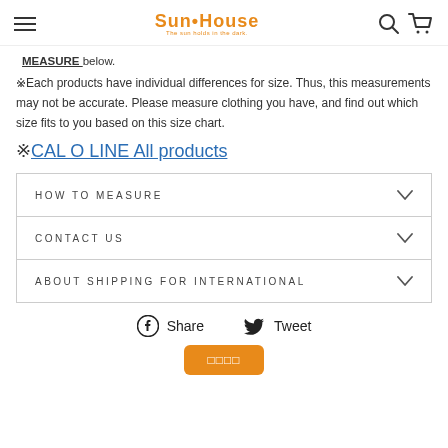Sun•House
MEASURE  below.
※Each products have individual differences for size. Thus, this measurements may not be accurate. Please measure clothing you have, and find out which size fits to you based on this size chart.
※CAL O LINE All products
| HOW TO MEASURE |  |
| --- | --- |
| CONTACT US |  |
| ABOUT SHIPPING FOR INTERNATIONAL |  |
Share   Tweet
□□□□